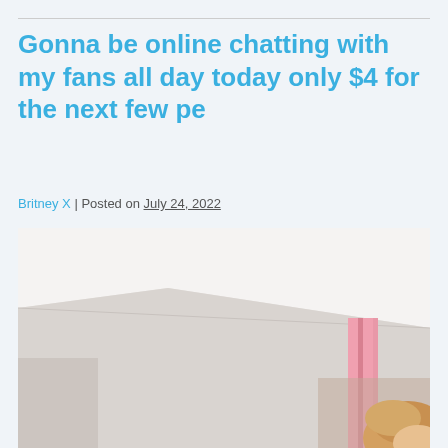Gonna be online chatting with my fans all day today only $4 for the next few pe
Britney X | Posted on July 24, 2022
[Figure (photo): A blurry photo taken from a low angle showing a white room ceiling, a pink curtain in the background, and the top of a person's head with blonde hair visible in the lower right corner.]